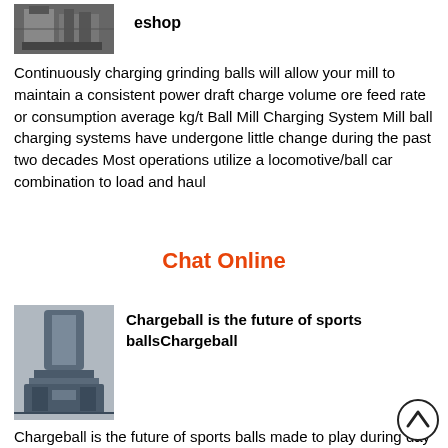[Figure (photo): Industrial equipment photo at top left]
eshop
Continuously charging grinding balls will allow your mill to maintain a consistent power draft charge volume ore feed rate or consumption average kg/t Ball Mill Charging System Mill ball charging systems have undergone little change during the past two decades Most operations utilize a locomotive/ball car combination to load and haul
Chat Online
[Figure (photo): Industrial tall machine/equipment photo at bottom left]
Chargeball is the future of sports ballsChargeball
Chargeball is the future of sports balls made to play during day and night so you can play longer Our illuminated Chargebag makes the seemingly neutral material glow fluorescent green Every pack comes with a Chargeball Chargebag rechargeable power pack and power cord.